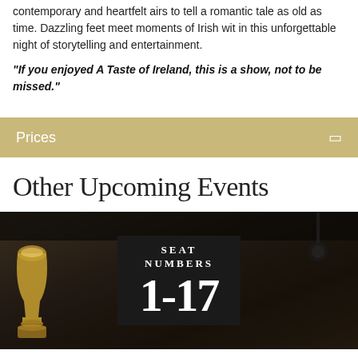contemporary and heartfelt airs to tell a romantic tale as old as time. Dazzling feet meet moments of Irish wit in this unforgettable night of storytelling and entertainment.
"If you enjoyed A Taste of Ireland, this is a show, not to be missed."
Prices
Other Upcoming Events
[Figure (photo): Dark restaurant/venue interior photo showing a table sign reading 'SEAT NUMBERS 1-17' with gold goblet decorations visible on the left side and dark atmospheric lighting overhead.]